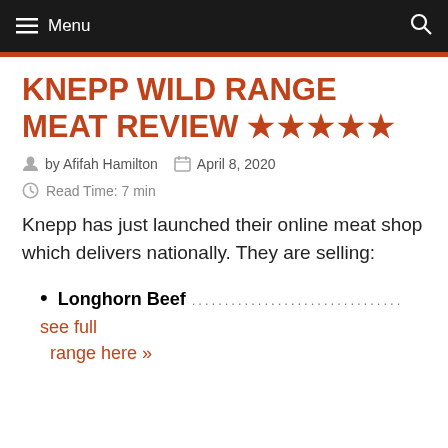Menu
KNEPP WILD RANGE MEAT REVIEW ★★★★★
by Afifah Hamilton   April 8, 2020
Read Time: 7 min
Knepp has just launched their online meat shop which delivers nationally. They are selling:
Longhorn Beef ................................ see full range here »